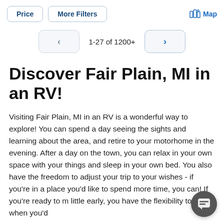Price | More Filters | Map
1-27 of 1200+
Discover Fair Plain, MI in an RV!
Visiting Fair Plain, MI in an RV is a wonderful way to explore! You can spend a day seeing the sights and learning about the area, and retire to your motorhome in the evening. After a day on the town, you can relax in your own space with your things and sleep in your own bed. You also have the freedom to adjust your trip to your wishes - if you're in a place you'd like to spend more time, you can! If you're ready to move on a little early, you have the flexibility to leave when you'd